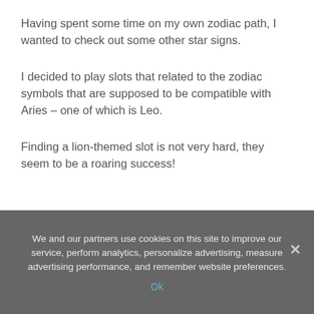Having spent some time on my own zodiac path, I wanted to check out some other star signs.
I decided to play slots that related to the zodiac symbols that are supposed to be compatible with Aries – one of which is Leo.
Finding a lion-themed slot is not very hard, they seem to be a roaring success!
We and our partners use cookies on this site to improve our service, perform analytics, personalize advertising, measure advertising performance, and remember website preferences.
Ok